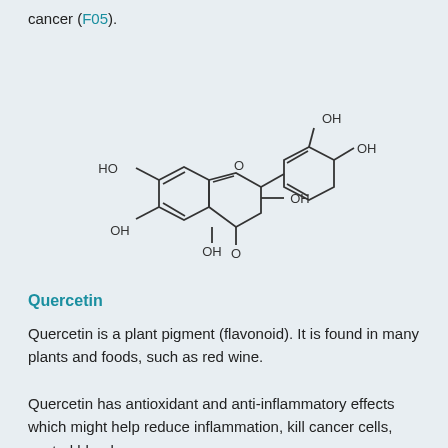cancer (F05).
[Figure (schematic): Chemical structure of Quercetin (flavonoid) showing the three-ring skeleton with hydroxyl groups at positions 3, 5, 7, 3', 4' and a ketone group at position 4.]
Quercetin
Quercetin is a plant pigment (flavonoid). It is found in many plants and foods, such as red wine.
Quercetin has antioxidant and anti-inflammatory effects which might help reduce inflammation, kill cancer cells, control blood